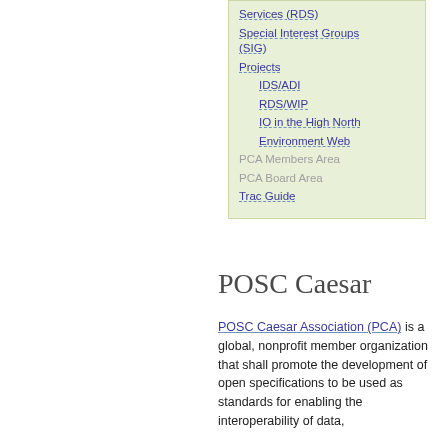Services (RDS)
Special Interest Groups (SIG)
Projects
IDS/ADI
RDS/WIP
IO in the High North
Environment Web
PCA Members Area
PCA Board Area
Trac Guide
POSC Caesar
POSC Caesar Association (PCA) is a global, nonprofit member organization that shall promote the development of open specifications to be used as standards for enabling the interoperability of data,